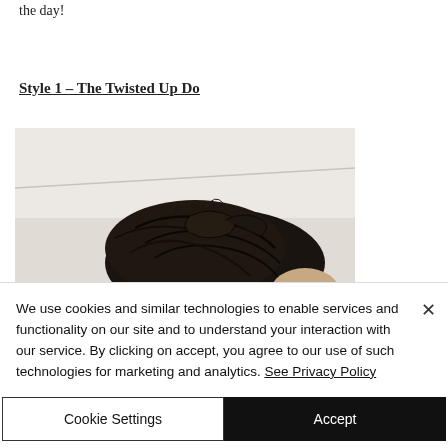the day!
Style 1 – The Twisted Up Do
[Figure (photo): A person's hair shown from a top/back angle, black hair styled in a twisted updo, against a light background.]
We use cookies and similar technologies to enable services and functionality on our site and to understand your interaction with our service. By clicking on accept, you agree to our use of such technologies for marketing and analytics. See Privacy Policy